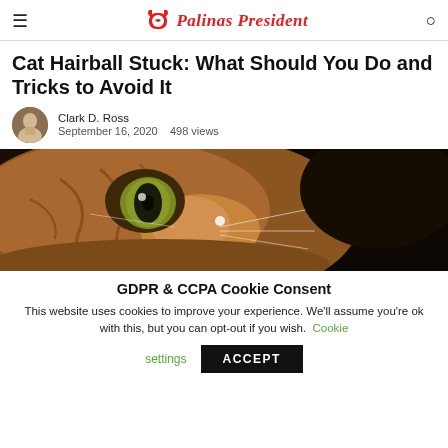Palinas President
Cat Hairball Stuck: What Should You Do and Tricks to Avoid It
Clark D. Ross  September 16, 2020   498 views
[Figure (photo): Close-up photo of an orange tabby cat's face, focusing on its green eye]
GDPR & CCPA Cookie Consent
This website uses cookies to improve your experience. We'll assume you're ok with this, but you can opt-out if you wish. Cookie settings  ACCEPT